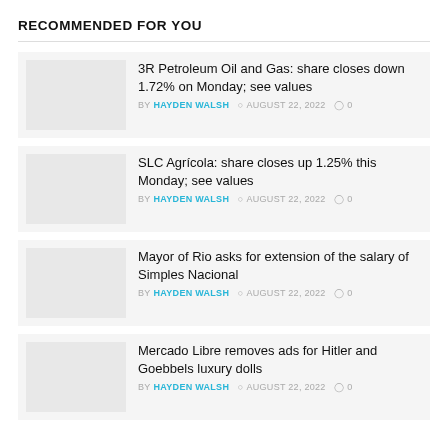RECOMMENDED FOR YOU
3R Petroleum Oil and Gas: share closes down 1.72% on Monday; see values
BY HAYDEN WALSH  AUGUST 22, 2022  0
SLC Agrícola: share closes up 1.25% this Monday; see values
BY HAYDEN WALSH  AUGUST 22, 2022  0
Mayor of Rio asks for extension of the salary of Simples Nacional
BY HAYDEN WALSH  AUGUST 22, 2022  0
Mercado Libre removes ads for Hitler and Goebbels luxury dolls
BY HAYDEN WALSH  AUGUST 22, 2022  0